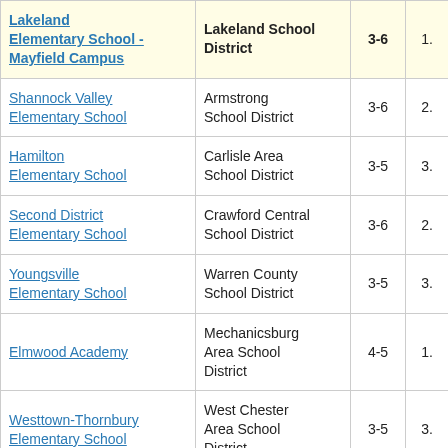| School | District | Grades |  |
| --- | --- | --- | --- |
| Lakeland Elementary School - Mayfield Campus | Lakeland School District | 3-6 | 1. |
| Shannock Valley Elementary School | Armstrong School District | 3-6 | 2. |
| Hamilton Elementary School | Carlisle Area School District | 3-5 | 3. |
| Second District Elementary School | Crawford Central School District | 3-6 | 2. |
| Youngsville Elementary School | Warren County School District | 3-5 | 3. |
| Elmwood Academy | Mechanicsburg Area School District | 4-5 | 1. |
| Westtown-Thornbury Elementary School | West Chester Area School District | 3-5 | 3. |
| Dingman-Delaware | Delaware Valley | 6-8 | 1. |